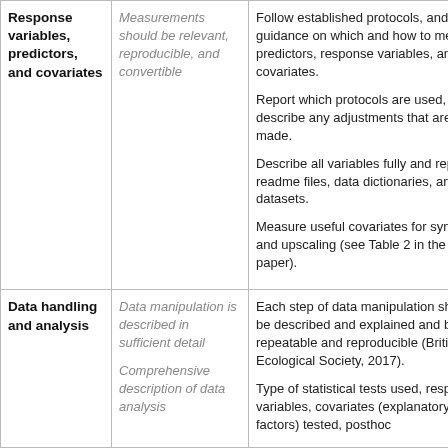|  |  |  |
| --- | --- | --- |
| Response variables, predictors, and covariates | Measurements should be relevant, reproducible, and convertible | Follow established protocols, and guidance on which and how to measure predictors, response variables, and covariates.

Report which protocols are used, and describe any adjustments that are made.

Describe all variables fully and report in readme files, data dictionaries, and datasets.

Measure useful covariates for synthesis and upscaling (see Table 2 in the main paper). |
| Data handling and analysis | Data manipulation is described in sufficient detail

Comprehensive description of data analysis | Each step of data manipulation should be described and explained and be repeatable and reproducible (British Ecological Society, 2017).

Type of statistical tests used, response variables, covariates (explanatory factors) tested, posthoc |